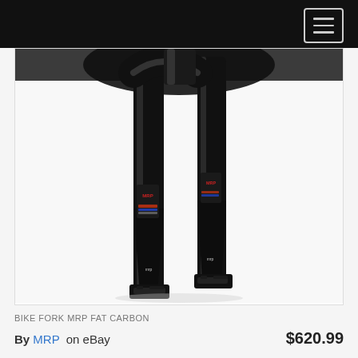[Figure (photo): Black carbon bike fork (MRP Fat Carbon) with two legs/blades shown against a white background. The fork has 'MRP' branding/decals on the legs and dropout tabs at the bottom.]
BIKE FORK MRP FAT CARBON
By MRP on eBay  $620.99